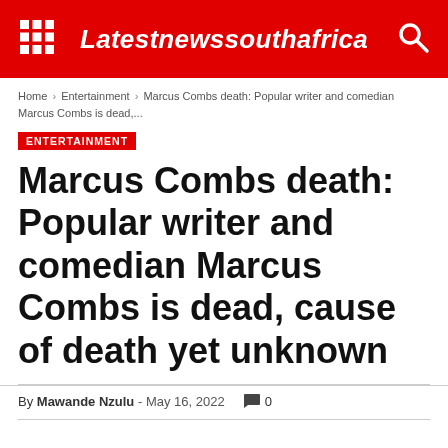Latestnewssouthafrica
Home › Entertainment › Marcus Combs death: Popular writer and comedian Marcus Combs is dead,...
ENTERTAINMENT
Marcus Combs death: Popular writer and comedian Marcus Combs is dead, cause of death yet unknown
By Mawande Nzulu - May 16, 2022  0